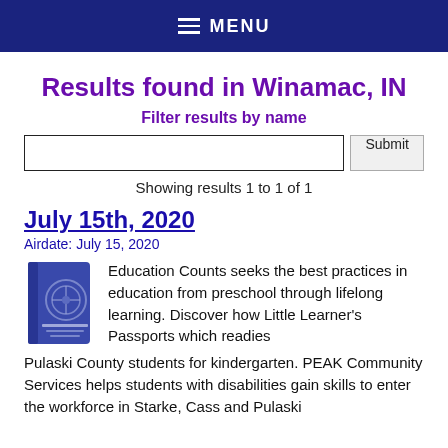☰ MENU
Results found in Winamac, IN
Filter results by name
Showing results 1 to 1 of 1
July 15th, 2020
Airdate: July 15, 2020
[Figure (illustration): Small blue book icon representing Education Counts program]
Education Counts seeks the best practices in education from preschool through lifelong learning. Discover how Little Learner's Passports which readies Pulaski County students for kindergarten. PEAK Community Services helps students with disabilities gain skills to enter the workforce in Starke, Cass and Pulaski